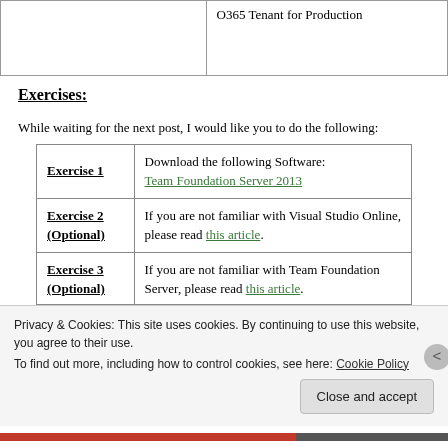|  | O365 Tenant for Production |
| --- | --- |
|  |  |
Exercises:
While waiting for the next post, I would like you to do the following:
|  |  |
| --- | --- |
| Exercise 1 | Download the following Software:
Team Foundation Server 2013 |
| Exercise 2 (Optional) | If you are not familiar with Visual Studio Online, please read this article. |
| Exercise 3 (Optional) | If you are not familiar with Team Foundation Server, please read this article. |
Privacy & Cookies: This site uses cookies. By continuing to use this website, you agree to their use.
To find out more, including how to control cookies, see here: Cookie Policy